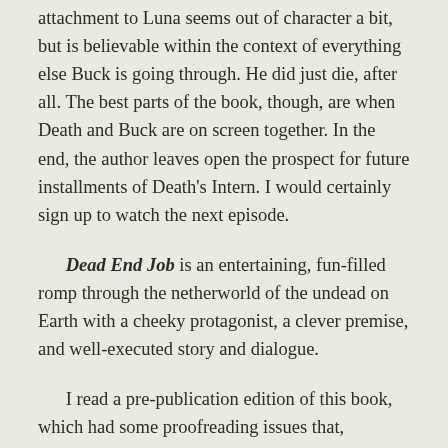attachment to Luna seems out of character a bit, but is believable within the context of everything else Buck is going through. He did just die, after all. The best parts of the book, though, are when Death and Buck are on screen together. In the end, the author leaves open the prospect for future installments of Death's Intern. I would certainly sign up to watch the next episode.
Dead End Job is an entertaining, fun-filled romp through the netherworld of the undead on Earth with a cheeky protagonist, a clever premise, and well-executed story and dialogue.
I read a pre-publication edition of this book, which had some proofreading issues that, hopefully, will be corrected before final publication. The book is currently available for pre-order on amazon.com, with a publication date of October 5,